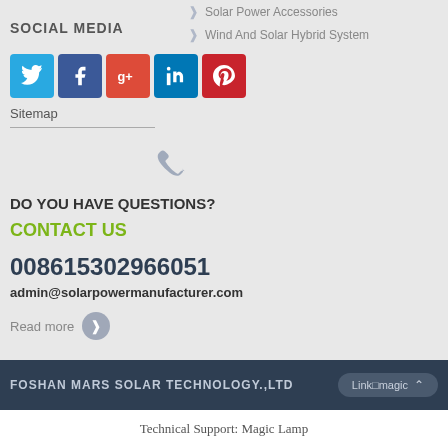Solar Power Accessories
Wind And Solar Hybrid System
SOCIAL MEDIA
[Figure (other): Social media icons: Twitter, Facebook, Google+, LinkedIn, Pinterest]
Sitemap
[Figure (other): Phone icon (handset)]
DO YOU HAVE QUESTIONS?
CONTACT US
008615302966051
admin@solarpowermanufacturer.com
Read more
FOSHAN MARS SOLAR TECHNOLOGY.,LTD  Link□magic
Technical Support: Magic Lamp